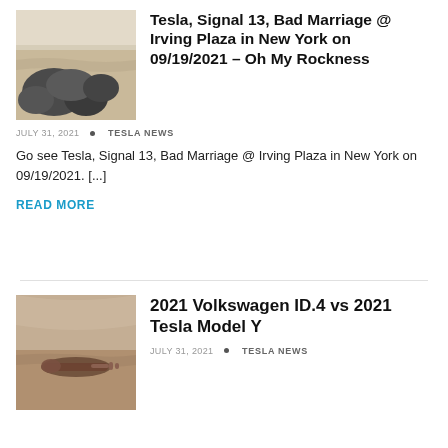[Figure (photo): Rocks on a sandy beach/desert landscape]
Tesla, Signal 13, Bad Marriage @ Irving Plaza in New York on 09/19/2021 – Oh My Rockness
JULY 31, 2021  •  TESLA NEWS
Go see Tesla, Signal 13, Bad Marriage @ Irving Plaza in New York on 09/19/2021. [...]
READ MORE
[Figure (photo): Close-up of a car key or similar object on sandy/earthy background]
2021 Volkswagen ID.4 vs 2021 Tesla Model Y
JULY 31, 2021  •  TESLA NEWS